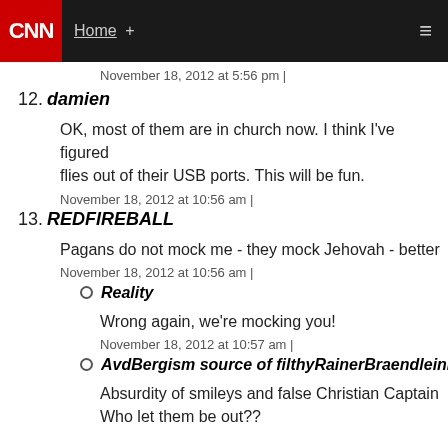CNN  Home +
November 18, 2012 at 5:56 pm |
12. damien
OK, most of them are in church now. I think I've figured flies out of their USB ports. This will be fun.
November 18, 2012 at 10:56 am |
13. REDFIREBALL
Pagans do not mock me - they mock Jehovah - better
November 18, 2012 at 10:56 am |
Reality
Wrong again, we're mocking you!
November 18, 2012 at 10:57 am |
AvdBergism source of filthyRainerBraendleini
Absurdity of smileys and false Christian Captain
Who let them be out??